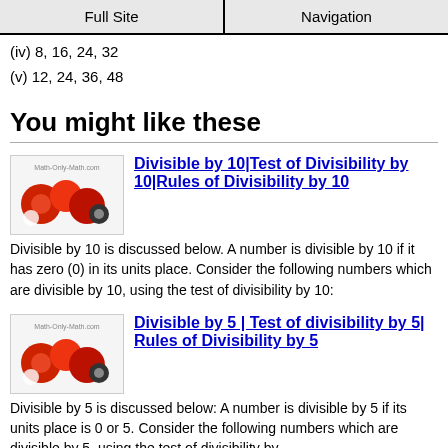Full Site | Navigation
(iv) 8, 16, 24, 32
(v) 12, 24, 36, 48
You might like these
[Figure (photo): Math-Only-Math.com logo with red and white spheres]
Divisible by 10|Test of Divisibility by 10|Rules of Divisibility by 10
Divisible by 10 is discussed below. A number is divisible by 10 if it has zero (0) in its units place. Consider the following numbers which are divisible by 10, using the test of divisibility by 10:
[Figure (photo): Math-Only-Math.com logo with red and white spheres]
Divisible by 5 | Test of divisibility by 5| Rules of Divisibility by 5
Divisible by 5 is discussed below: A number is divisible by 5 if its units place is 0 or 5. Consider the following numbers which are divisible by 5, using the test of divisibility by